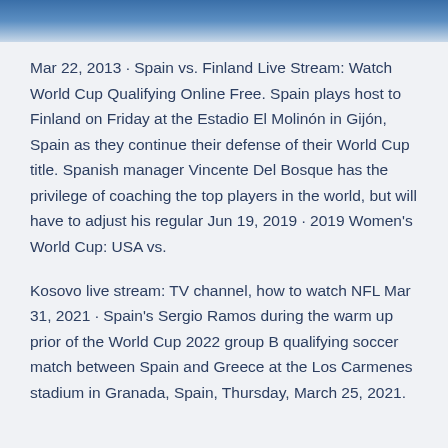[Figure (photo): Partial photo strip at top of page showing sky with clouds, blue tones]
Mar 22, 2013 · Spain vs. Finland Live Stream: Watch World Cup Qualifying Online Free. Spain plays host to Finland on Friday at the Estadio El Molinón in Gijón, Spain as they continue their defense of their World Cup title. Spanish manager Vincente Del Bosque has the privilege of coaching the top players in the world, but will have to adjust his regular Jun 19, 2019 · 2019 Women's World Cup: USA vs.
Kosovo live stream: TV channel, how to watch NFL Mar 31, 2021 · Spain's Sergio Ramos during the warm up prior of the World Cup 2022 group B qualifying soccer match between Spain and Greece at the Los Carmenes stadium in Granada, Spain, Thursday, March 25, 2021.